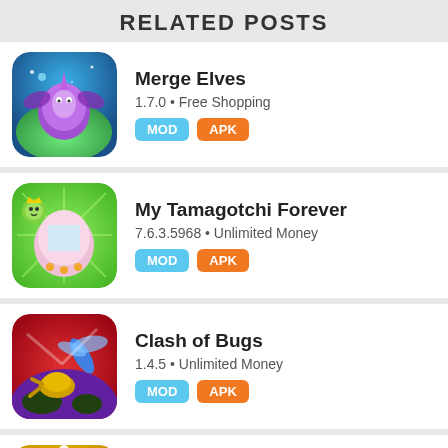RELATED POSTS
Merge Elves
1.7.0 • Free Shopping
MOD APK
My Tamagotchi Forever
7.6.3.5968 • Unlimited Money
MOD APK
Clash of Bugs
1.4.5 • Unlimited Money
MOD APK
My Talking Tom Friends
(partial)